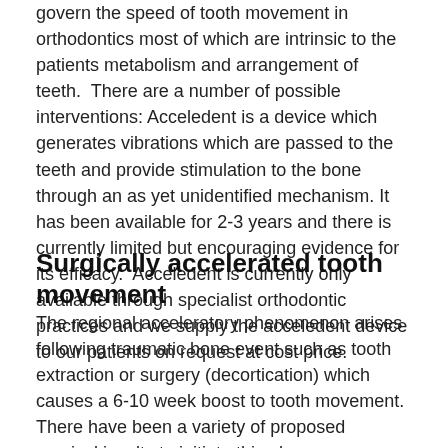govern the speed of tooth movement in orthodontics most of which are intrinsic to the patients metabolism and arrangement of teeth.  There are a number of possible interventions: Acceledent is a device which generates vibrations which are passed to the teeth and provide stimulation to the bone through an as yet unidentified mechanism. It has been available for 2-3 years and there is currently limited but encouraging evidence for its efficacy.  Acceledent is currently only available through specialist orthodontic practices and we supply the acceledent device to our patients on request at cost price.
Surgically accelerated tooth movement
The regional acceleratory phenomenon arises following traumatic bone event such as tooth extraction or surgery (decortication) which causes a 6-10 week boost to tooth movement. There have been a variety of proposed surgical insults to initiate this phenomenon, which range from minor denting of the bone right through to wholesale removal of the